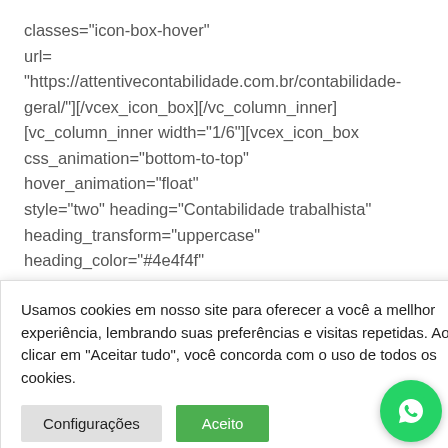classes="icon-box-hover" url="https://attentivecontabilidade.com.br/contabilidade-geral/"][/vcex_icon_box][/vc_column_inner] [vc_column_inner width="1/6"][vcex_icon_box css_animation="bottom-to-top" hover_animation="float" style="two" heading="Contabilidade trabalhista" heading_transform="uppercase" heading_color="#4e4f4f"
Sans"
contabilidade-
_inner]
box
ion="float"
color="#
[Figure (other): Cookie consent banner with text 'Usamos cookies em nosso site para oferecer a você a mellhor experiência, lembrando suas preferências e visitas repetidas. Ao clicar em "Aceitar tudo", você concorda com o uso de todos os cookies.' and two buttons: 'Configurações' and 'Aceito']
[Figure (other): WhatsApp floating action button (green circle with phone handset icon)]
image="110" heading_font_family="Open Sans"